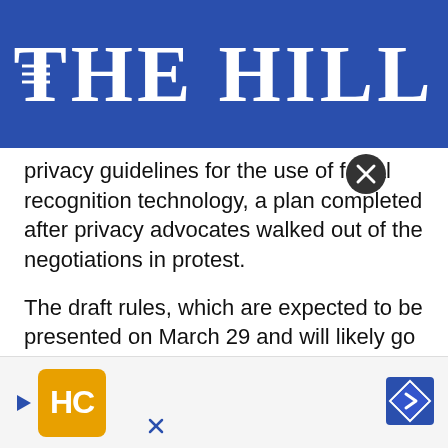THE HILL
privacy guidelines for the use of facial recognition technology, a plan completed after privacy advocates walked out of the negotiations in protest.
The draft rules, which are expected to be presented on March 29 and will likely go through further revisions, would govern when companies need to tell customers that their faces are being analyzed by the technology.
{mosads}“There has been a bunch of really great work done by groups to help their members navigate the universe of facial recognition technology,” said Carl Szabo, policy counsel for industry group NetCh... roup develop...